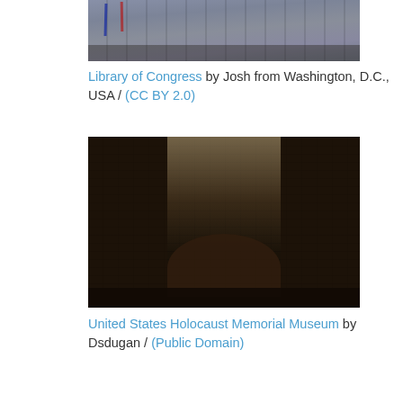[Figure (photo): Cropped photo of Library of Congress building exterior, top portion visible]
Library of Congress by Josh from Washington, D.C., USA / (CC BY 2.0)
[Figure (photo): Interior atrium of United States Holocaust Memorial Museum, looking upward at glass and brick architecture]
United States Holocaust Memorial Museum by Dsdugan / (Public Domain)
[Figure (photo): Colorful tulips and flowers in bloom at Franciscan Monastery of the Holy Land]
Franciscan Monastery of the Holy Land by franciscanmonastery
[Figure (photo): Partial photo showing blue sky, bottom of page (cropped)]